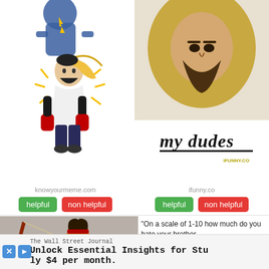[Figure (illustration): Animated character illustration from knowyourmeme.com — a stylized man with long blonde ponytail, dark beard, in white outfit with red/dark gloves, crouching with yellow star-burst lines. Another blue-clad character above.]
knowyourmeme.com
helpful   non helpful
[Figure (photo): Close-up photo of a man's face with beard and long hair, looking downward seriously. Text overlay reads 'my dudes' in large handwritten-style font with a black underline. Small ifunny.co watermark in bottom right.]
ifunny.co
helpful   non helpful
[Figure (illustration): Illustration/digital art of a muscular warrior character drawing a large bow and arrow, wearing red and brown armor, with a red bow.]
"On a scale of 1-10 how much do you hate your brother
[Figure (photo): Photo of a person with cat ears headband standing in front of a locker with number 11.]
The Wall Street Journal
Unlock Essential Insights for Stu
ly $4 per month.